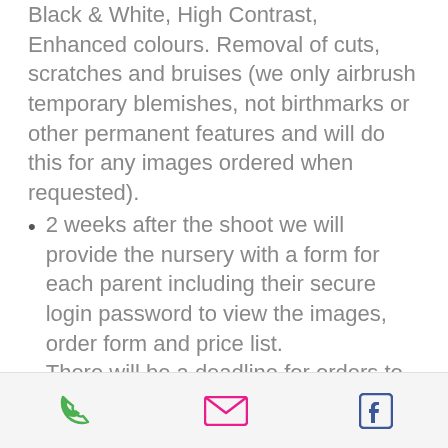Black & White, High Contrast, Enhanced colours. Removal of cuts, scratches and bruises (we only airbrush temporary blemishes, not birthmarks or other permanent features and will do this for any images ordered when requested).
2 weeks after the shoot we will provide the nursery with a form for each parent including their secure login password to view the images, order form and price list.
There will be a deadline for orders to be returned to the nursery on the form and payment can be made by cash or bank transfer.
The orders will then be delivered back to the nursery 2 weeks from the deadline date.